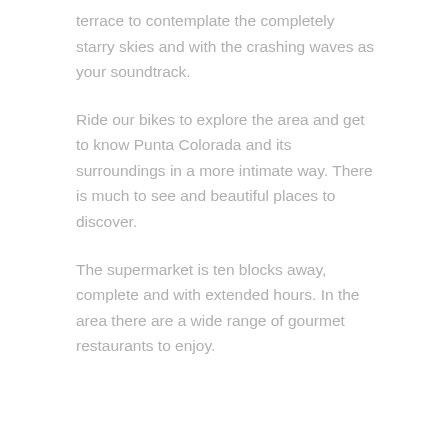terrace to contemplate the completely starry skies and with the crashing waves as your soundtrack.
Ride our bikes to explore the area and get to know Punta Colorada and its surroundings in a more intimate way. There is much to see and beautiful places to discover.
The supermarket is ten blocks away, complete and with extended hours. In the area there are a wide range of gourmet restaurants to enjoy.